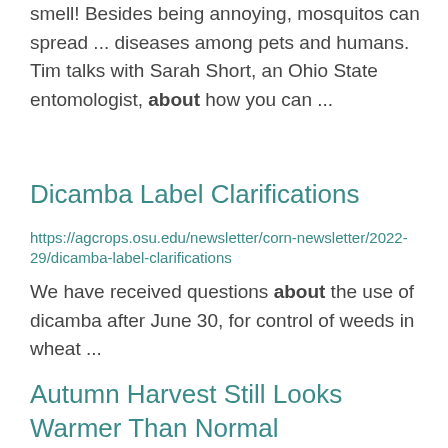smell! Besides being annoying, mosquitos can spread ... diseases among pets and humans. Tim talks with Sarah Short, an Ohio State entomologist, about how you can ...
Dicamba Label Clarifications
https://agcrops.osu.edu/newsletter/corn-newsletter/2022-29/dicamba-label-clarifications
We have received questions about the use of dicamba after June 30, for control of weeds in wheat ...
Autumn Harvest Still Looks Warmer Than Normal